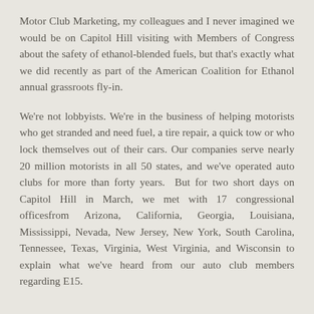Motor Club Marketing, my colleagues and I never imagined we would be on Capitol Hill visiting with Members of Congress about the safety of ethanol-blended fuels, but that's exactly what we did recently as part of the American Coalition for Ethanol annual grassroots fly-in.
We're not lobbyists. We're in the business of helping motorists who get stranded and need fuel, a tire repair, a quick tow or who lock themselves out of their cars. Our companies serve nearly 20 million motorists in all 50 states, and we've operated auto clubs for more than forty years.  But for two short days on Capitol Hill in March, we met with 17 congressional officesfrom Arizona, California, Georgia, Louisiana, Mississippi, Nevada, New Jersey, New York, South Carolina, Tennessee, Texas, Virginia, West Virginia, and Wisconsin to explain what we've heard from our auto club members regarding E15.